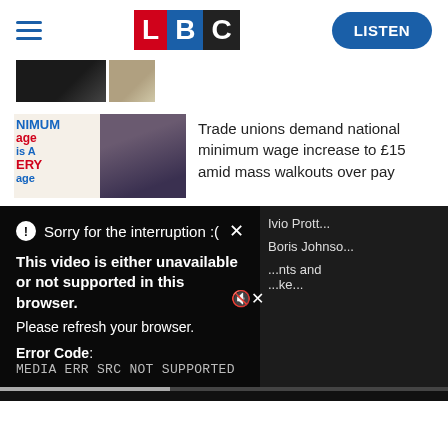[Figure (logo): LBC radio logo with hamburger menu and LISTEN button]
[Figure (photo): Small thumbnail images at top of page, partially cropped]
[Figure (photo): Two thumbnail images: minimum wage protest sign and woman's face]
Trade unions demand national minimum wage increase to £15 amid mass walkouts over pay
[Figure (screenshot): Video player error overlay on dark background showing 'Sorry for the interruption :(' message]
Sorry for the interruption :(
This video is either unavailable or not supported in this browser. Please refresh your browser.
Error Code: MEDIA ERR SRC NOT SUPPORTED
Boris Johnso...
...nts and ...ke...
Ivio Prott...